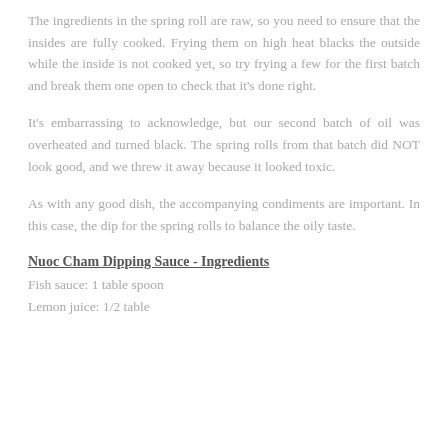The ingredients in the spring roll are raw, so you need to ensure that the insides are fully cooked. Frying them on high heat blacks the outside while the inside is not cooked yet, so try frying a few for the first batch and break them one open to check that it's done right.
It's embarrassing to acknowledge, but our second batch of oil was overheated and turned black. The spring rolls from that batch did NOT look good, and we threw it away because it looked toxic.
As with any good dish, the accompanying condiments are important. In this case, the dip for the spring rolls to balance the oily taste.
Nuoc Cham Dipping Sauce - Ingredients
Fish sauce: 1 table spoon
Lemon juice: 1/2 table...